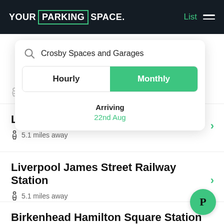YOUR PARKING SPACE. List
[Figure (screenshot): Search bar showing 'Crosby Spaces and Garages' with Hourly/Monthly toggle (Monthly selected in green) and Arriving date of 22nd Aug]
2.0 miles away
Liverpool Lime Street
5.1 miles away
Liverpool James Street Railway Station
5.1 miles away
Birkenhead Hamilton Square Station